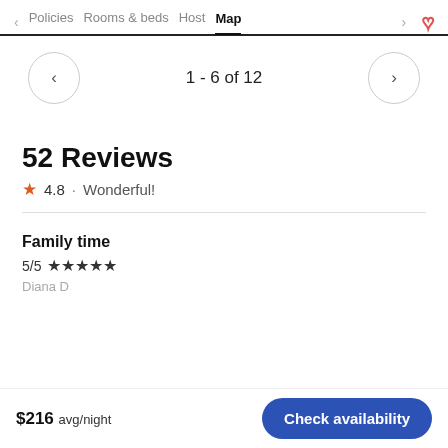< Policies   Rooms & beds   Host   Map   >   ♡
1 - 6 of 12
52 Reviews
★ 4.8 · Wonderful!
Family time
5/5 ★★★★★
Diana D
$216 avg/night   Check availability